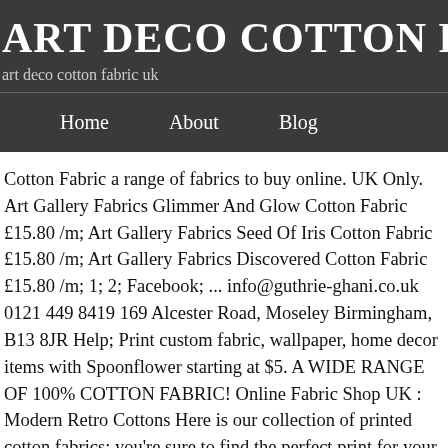ART DECO COTTON FAB
art deco cotton fabric uk
Home   About   Blog
Cotton Fabric a range of fabrics to buy online. UK Only. Art Gallery Fabrics Glimmer And Glow Cotton Fabric £15.80 /m; Art Gallery Fabrics Seed Of Iris Cotton Fabric £15.80 /m; Art Gallery Fabrics Discovered Cotton Fabric £15.80 /m; 1; 2; Facebook; ... info@guthrie-ghani.co.uk 0121 449 8419 169 Alcester Road, Moseley Birmingham, B13 8JR Help; Print custom fabric, wallpaper, home decor items with Spoonflower starting at $5. A WIDE RANGE OF 100% COTTON FABRIC! Online Fabric Shop UK : Modern Retro Cottons Here is our collection of printed cotton fabrics; you're sure to find the perfect print for your next project! If you place an order online and your chosen fabric or sample is out of stock, you will receive an email to let you know that the curtain fabric is out of